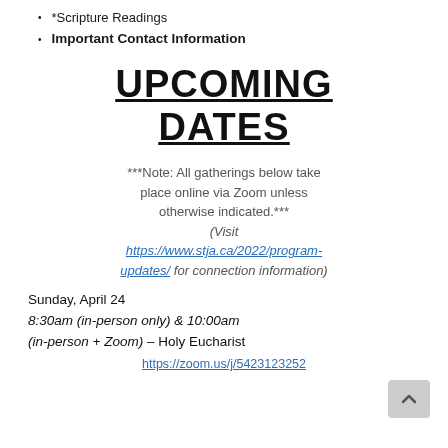*Scripture Readings
Important Contact Information
UPCOMING DATES
***Note: All gatherings below take place online via Zoom unless otherwise indicated.*** (Visit https://www.stja.ca/2022/program-updates/ for connection information)
Sunday, April 24
8:30am (in-person only) & 10:00am (in-person + Zoom) – Holy Eucharist
https://zoom.us/j/5423123252